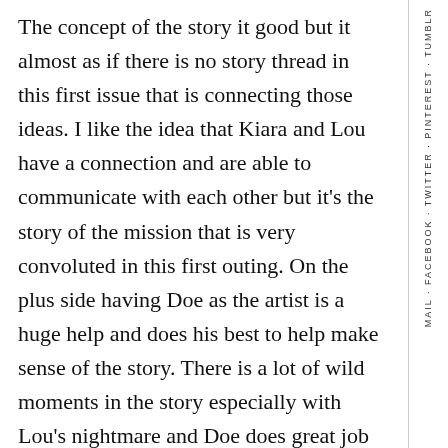The concept of the story it good but it almost as if there is no story thread in this first issue that is connecting those ideas. I like the idea that Kiara and Lou have a connection and are able to communicate with each other but it's the story of the mission that is very convoluted in this first outing. On the plus side having Doe as the artist is a huge help and does his best to help make sense of the story. There is a lot of wild moments in the story especially with Lou's nightmare and Doe does great job of visualizing it.
Is this book worth you're time and money? This is a tough one because there is a really good idea here but this first issue gets off to a very rocky start. The key is going to be the second issue and if Giffoni can